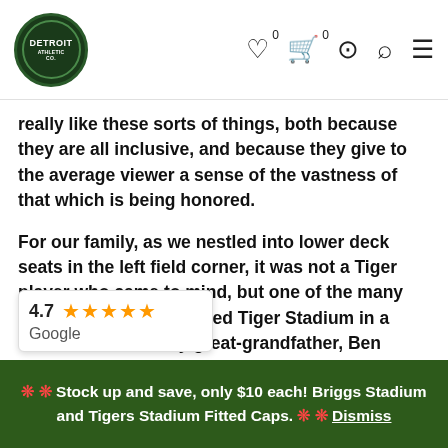Detroit Athletic Co. navigation header with logo, wishlist (0), cart (0), account, search, menu icons
really like these sorts of things, both because they are all inclusive, and because they give to the average viewer a sense of the vastness of that which is being honored.
For our family, as we nestled into lower deck seats in the left field corner, it was not a Tiger player who came to mind, but one of the many thousands to have visited Tiger Stadium in a visitor's uniform. My great-grandfather, Ben Caffyn, played twelve seasons in the minor leagues, and thirty games for the Cleveland Naps of the American League in 1906. Injuries to the Cleveland roster brought Ben up from Des Moines of the Western League during the last week of August. By mid-September, the Naps were in Detroit for a three game series against the Tigers, who featured future Hall-of-Famers Ty Cobb and Sam Crawford. The Cleveland roster featured three Hall-of-Famers-to-be, Addie Joss, Elmer Flick, and their
[Figure (other): Google rating overlay showing 4.7 stars with orange star icons and Google label]
❊ ❊ Stock up and save, only $10 each! Briggs Stadium and Tigers Stadium Fitted Caps. ❊ ❊ Dismiss